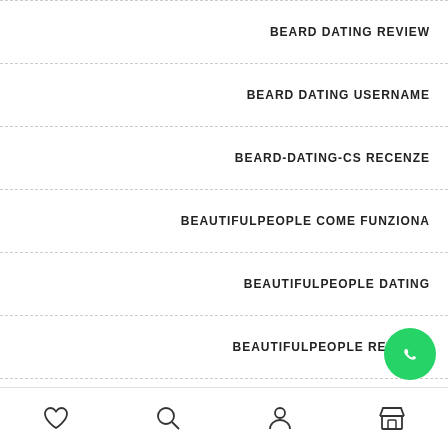BEARD DATING REVIEW
BEARD DATING USERNAME
BEARD-DATING-CS RECENZE
BEAUTIFULPEOPLE COME FUNZIONA
BEAUTIFULPEOPLE DATING
BEAUTIFULPEOPLE REVIEWS
BEETALK REVIEW
BELLEVUE THE ESCORT
[Figure (screenshot): Black phone button on left side and green WhatsApp floating button on right side]
[Figure (screenshot): Bottom navigation bar with heart, search, person, and store icons]